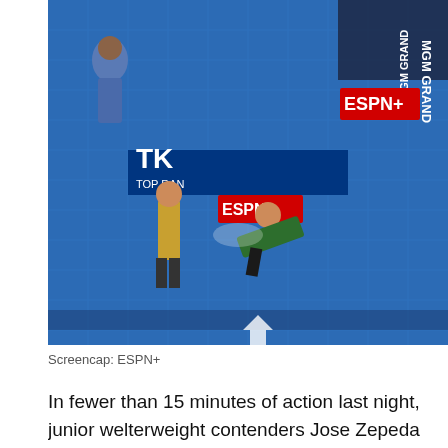[Figure (photo): Aerial/overhead view of a boxing match at MGM Grand Top Rank Vegas bubble, two fighters in the ring with a referee, ESPN+ and Top Rank logos visible on the ring canvas, blue ring mat with tile pattern]
Screencap: ESPN+
In fewer than 15 minutes of action last night, junior welterweight contenders Jose Zepeda and Ivan Baranchyk put on an almost cartoonishly physical showcase inside the Top Rank Vegas bubble. The junior welterweight contenders combined for eight knockdowns across five rounds in a classic that ended when Zepeda put away his opponent with a